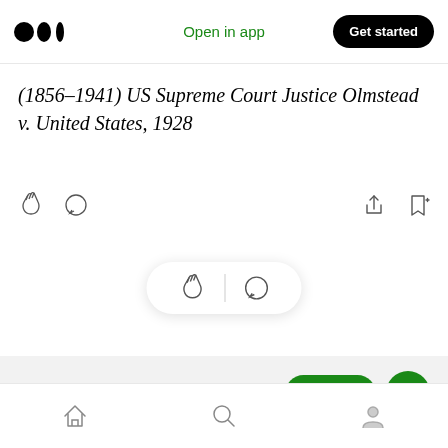Open in app | Get started
(1856–1941) US Supreme Court Justice Olmstead v. United States, 1928
[Figure (screenshot): Medium article UI with action icons (clap, comment, share, bookmark), a floating pill with clap and comment icons, a 'More from Stone' section with Follow and Subscribe buttons, and a bottom navigation bar with home, search, and profile icons.]